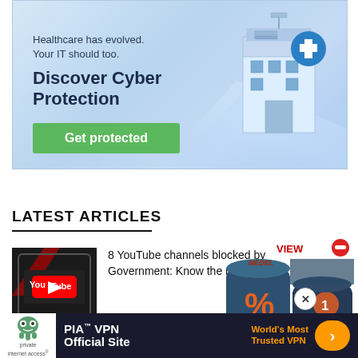[Figure (illustration): Advertisement banner for cyber protection with light blue gradient background, hospital/server building isometric illustration top right, tagline text 'Healthcare has evolved. Your IT should too.', bold headline 'Discover Cyber Protection', and a green 'Get protected' button.]
LATEST ARTICLES
[Figure (screenshot): YouTube logo on a tablet device with black and red background, thumbnail for article about YouTube channels blocked by government.]
8 YouTube channels blocked by Government: Know the reas...
[Figure (illustration): Advertisement dice showing percentage and product icons, with 'VIEW' text and red minus button overlay, labeled 'No min EOI' and 'Easy Replacements'.]
[Figure (illustration): PIA VPN advertisement banner: dark background with Private Internet Access logo (green robot/ghost icon), 'PIA™ VPN Official Site' in white bold text, 'World's Most Trusted VPN' in orange bold text, and an orange arrow button.]